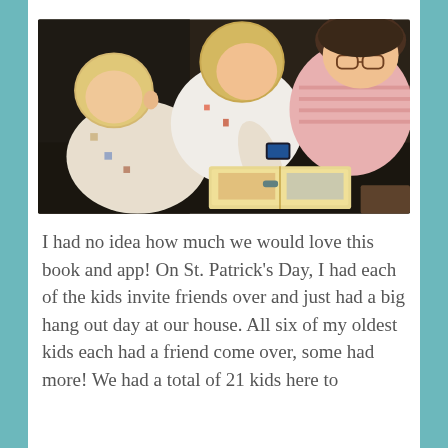[Figure (photo): Overhead view of three children sitting on a dark leather couch looking at a book together. Two blonde toddlers in pajamas and an older child with glasses wearing a pink striped shirt. One child holds a smartphone over the open picture book.]
I had no idea how much we would love this book and app! On St. Patrick's Day, I had each of the kids invite friends over and just had a big hang out day at our house. All six of my oldest kids each had a friend come over, some had more! We had a total of 21 kids here to